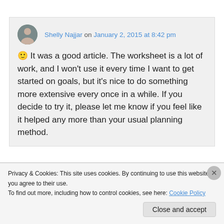Shelly Najjar on January 2, 2015 at 8:42 pm — 🙂 It was a good article. The worksheet is a lot of work, and I won't use it every time I want to get started on goals, but it's nice to do something more extensive every once in a while. If you decide to try it, please let me know if you feel like it helped any more than your usual planning method.
Privacy & Cookies: This site uses cookies. By continuing to use this website, you agree to their use. To find out more, including how to control cookies, see here: Cookie Policy
Close and accept